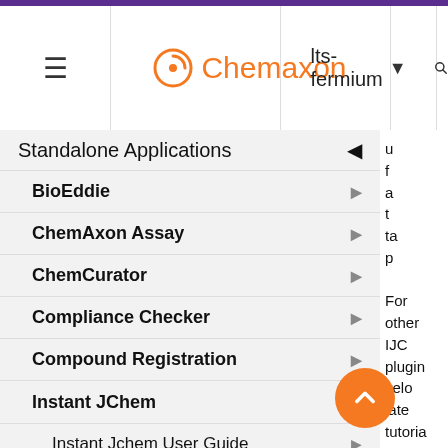Chemaxon | lts-fermium
Standalone Applications
BioEddie
ChemAxon Assay
ChemCurator
Compliance Checker
Compound Registration
Instant JChem
Instant Jchem User Guide
Instant JChem Administrator Gui...
For other IJC plugin velo late tutorial